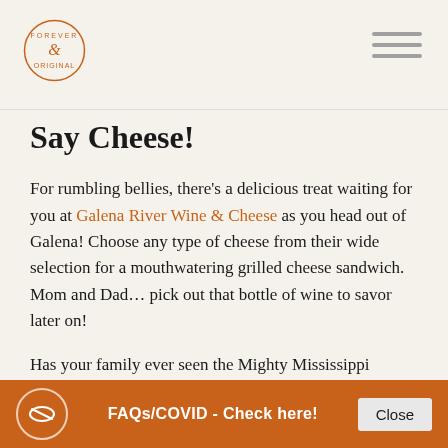Forever & Original logo and navigation menu
Say Cheese!
For rumbling bellies, there's a delicious treat waiting for you at Galena River Wine & Cheese as you head out of Galena! Choose any type of cheese from their wide selection for a mouthwatering grilled cheese sandwich. Mom and Dad… pick out that bottle of wine to savor later on!
Has your family ever seen the Mighty Mississippi River? Hop back onto Highway 20 traveling west and it will lead you straight to it! Stop at Gramercy Park in East
FAQs/COVID - Check here!  Close